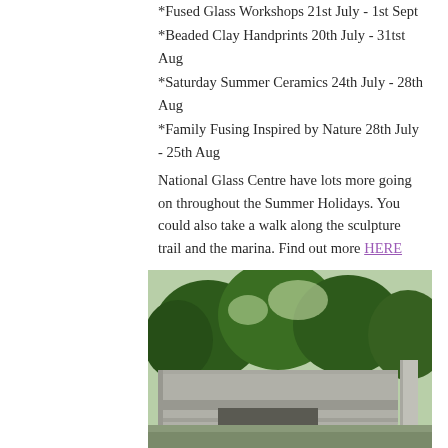*Fused Glass Workshops 21st July - 1st Sept
*Beaded Clay Handprints 20th July - 31tst Aug
*Saturday Summer Ceramics 24th July - 28th Aug
*Family Fusing Inspired by Nature 28th July - 25th Aug
National Glass Centre have lots more going on throughout the Summer Holidays. You could also take a walk along the sculpture trail and the marina. Find out more HERE
[Figure (photo): Exterior photograph of a concrete building structure with trees visible in the background, taken at the National Glass Centre.]